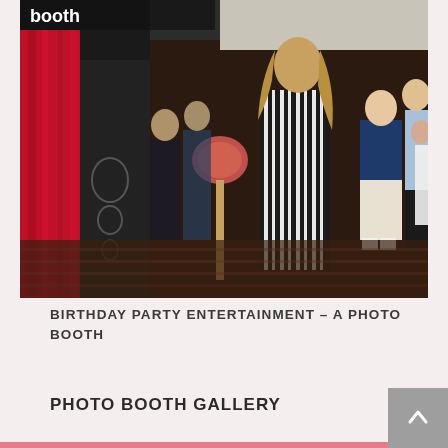[Figure (photo): A birthday party scene at an indoor venue. People socializing near a photo booth with a red curtain. A woman in a black and white striped dress holds a hobby horse prop. Other guests are visible in the background. The photo booth has 'booth' written at the top left.]
BIRTHDAY PARTY ENTERTAINMENT – A PHOTO BOOTH
PHOTO BOOTH GALLERY